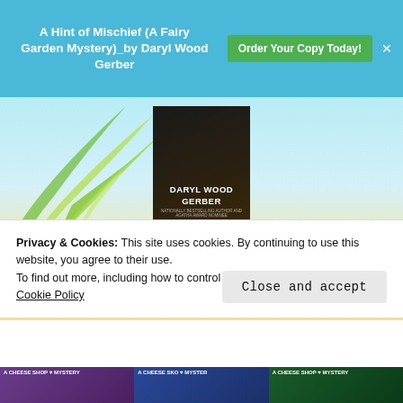A Hint of Mischief (A Fairy Garden Mystery)_by Daryl Wood Gerber
Order Your Copy Today!
[Figure (photo): Book cover for Daryl Wood Gerber with dark dramatic background showing the author name]
Written as Avery Aames
[Figure (photo): Row of book covers: The Long Quiche Goodbye, Lost and Fondue, Clobbered by, To Brie or]
Privacy & Cookies: This site uses cookies. By continuing to use this website, you agree to their use.
To find out more, including how to control cookies, see here:
Cookie Policy
Close and accept
[Figure (photo): Row of three book covers at the bottom strip]